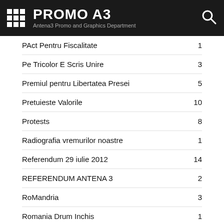PROMO A3 — Antena3 Promo and Graphics Department
PAct Pentru Fiscalitate — 1
Pe Tricolor E Scris Unire — 3
Premiul pentru Libertatea Presei — 5
Pretuieste Valorile — 10
Protests — 8
Radiografia vremurilor noastre — 1
Referendum 29 iulie 2012 — 14
REFERENDUM ANTENA 3 — 2
RoMandria — 3
Romania Drum Inchis — 1
Romania E Aici — 7
ROMANIA FARA STARE — 1
Romania In Miscare — 2